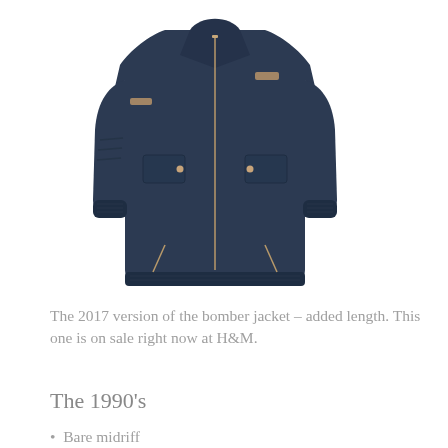[Figure (photo): A navy blue long bomber jacket (elongated/longline style) with gold/rose gold zipper detail on the front, side pockets with snap buttons, zippered hem vents, and ribbed cuffs. The jacket is displayed flat on a white background.]
The 2017 version of the bomber jacket – added length. This one is on sale right now at H&M.
The 1990's
Bare midriff